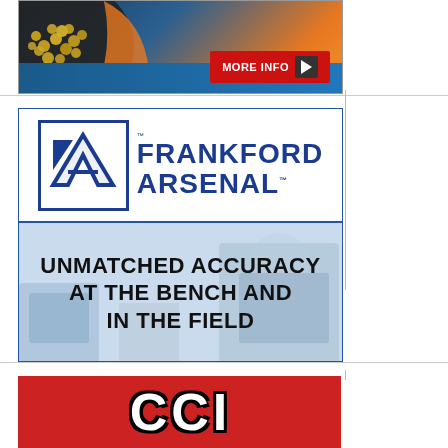[Figure (photo): Top advertisement showing a bullet tumbler/media separator device with brass casings, orange and blue background, with a red 'MORE INFO' button with play arrow]
[Figure (logo): Frankford Arsenal advertisement with logo (FA in blue box) and text 'FRANKFORD ARSENAL' in blue, lower half shows 'UNMATCHED ACCURACY AT THE BENCH AND IN THE FIELD' over a light blue workshop background]
[Figure (logo): CCI advertisement with red background showing large white block letters 'CCI' with black outline/shadow effect]